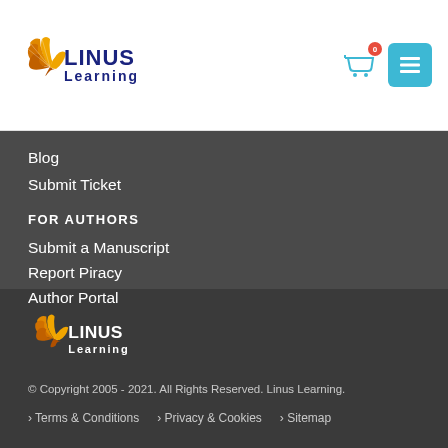[Figure (logo): Linus Learning logo with orange fan/shell icon and blue text]
Blog
Submit Ticket
FOR AUTHORS
Submit a Manuscript
Report Piracy
Author Portal
[Figure (logo): Linus Learning footer logo with orange fan/shell icon and white text]
© Copyright 2005 - 2021. All Rights Reserved. Linus Learning.
› Terms & Conditions  › Privacy & Cookies  › Sitemap